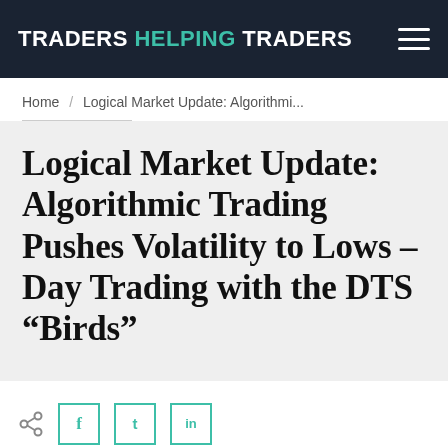TRADERS HELPING TRADERS
Home / Logical Market Update: Algorithmi...
Logical Market Update: Algorithmic Trading Pushes Volatility to Lows – Day Trading with the DTS “Birds”
[Figure (other): Social share icons: share button, Facebook, Twitter, LinkedIn]